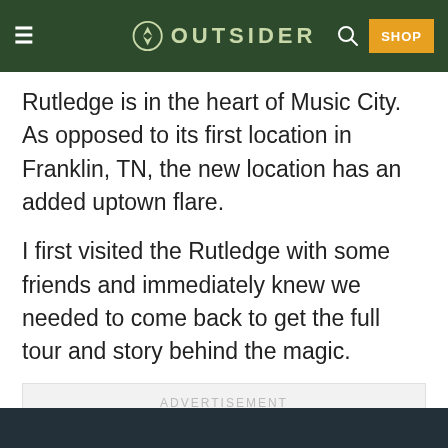OUTSIDER — SHOP
Rutledge is in the heart of Music City. As opposed to its first location in Franklin, TN, the new location has an added uptown flare.
I first visited the Rutledge with some friends and immediately knew we needed to come back to get the full tour and story behind the magic.
[Figure (other): ADVERTISEMENT placeholder box with light gray background]